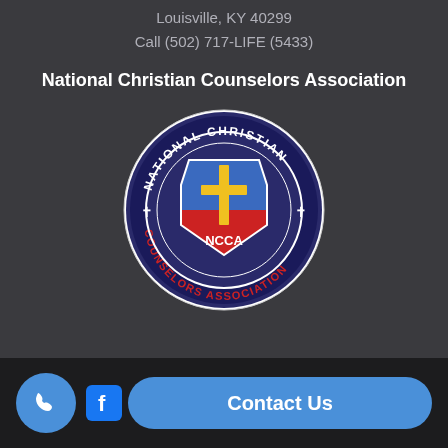Louisville, KY 40299
Call (502) 717-LIFE (5433)
National Christian Counselors Association
[Figure (logo): NCCA - National Christian Counselors Association circular logo with blue and red shield, yellow cross, and NCCA text]
[Figure (screenshot): Footer bar with Facebook icon, phone call button, and Contact Us button]